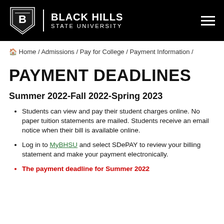BLACK HILLS STATE UNIVERSITY
Home / Admissions / Pay for College / Payment Information /
PAYMENT DEADLINES
Summer 2022-Fall 2022-Spring 2023
Students can view and pay their student charges online. No paper tuition statements are mailed. Students receive an email notice when their bill is available online.
Log in to MyBHSU and select SDePAY to review your billing statement and make your payment electronically.
The payment deadline for Summer 2022